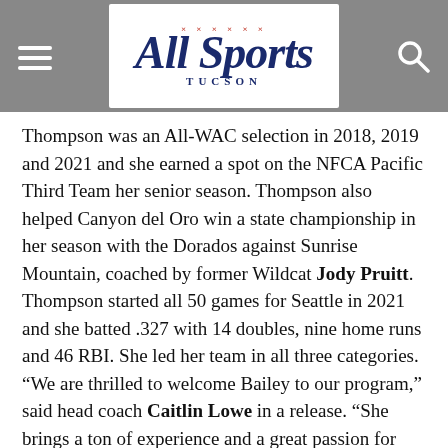[Figure (logo): All Sports Tucson logo on gray header bar with hamburger menu on left and search icon on right]
Thompson was an All-WAC selection in 2018, 2019 and 2021 and she earned a spot on the NFCA Pacific Third Team her senior season. Thompson also helped Canyon del Oro win a state championship in her season with the Dorados against Sunrise Mountain, coached by former Wildcat Jody Pruitt. Thompson started all 50 games for Seattle in 2021 and she batted .327 with 14 doubles, nine home runs and 46 RBI. She led her team in all three categories. “We are thrilled to welcome Bailey to our program,” said head coach Caitlin Lowe in a release. “She brings a ton of experience and a great passion for this game. She will add some depth behind the plate as well as a lot of pop offensively. We are so happy to have her join our wildcat family.”